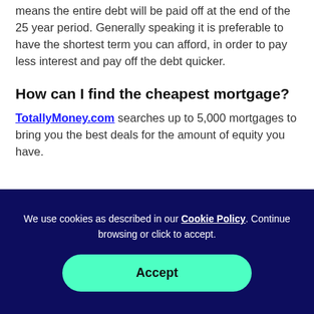means the entire debt will be paid off at the end of the 25 year period. Generally speaking it is preferable to have the shortest term you can afford, in order to pay less interest and pay off the debt quicker.
How can I find the cheapest mortgage?
TotallyMoney.com searches up to 5,000 mortgages to bring you the best deals for the amount of equity you have.
We use cookies as described in our Cookie Policy. Continue browsing or click to accept.
Accept